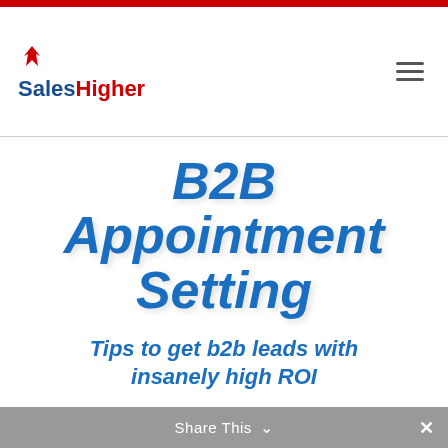[Figure (logo): SalesHigher logo with red flame icon and blue/red text]
B2B Appointment Setting
Tips to get b2b leads with insanely high ROI
Share This